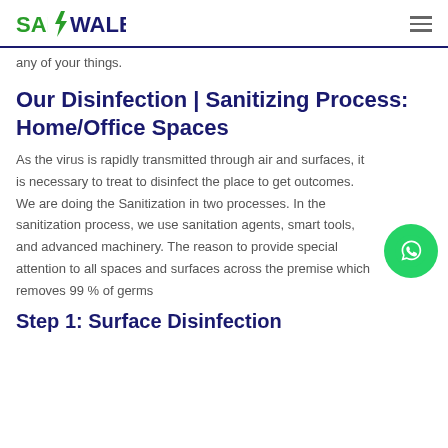SAFAIWALE
any of your things.
Our Disinfection | Sanitizing Process: Home/Office Spaces
As the virus is rapidly transmitted through air and surfaces, it is necessary to treat to disinfect the place to get outcomes. We are doing the Sanitization in two processes. In the sanitization process, we use sanitation agents, smart tools, and advanced machinery. The reason to provide special attention to all spaces and surfaces across the premise which removes 99 % of germs
Step 1: Surface Disinfection